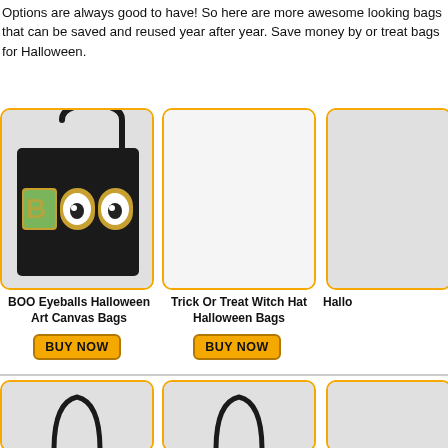Options are always good to have! So here are more awesome looking bags that can be saved and reused year after year. Save money by or treat bags for Halloween.
[Figure (photo): BOO Eyeballs Halloween Art Canvas Bag - black tote bag with BOO eyeballs design]
BOO Eyeballs Halloween Art Canvas Bags
BUY NOW
[Figure (photo): Trick Or Treat Witch Hat Halloween Bags - empty product image placeholder]
Trick Or Treat Witch Hat Halloween Bags
BUY NOW
[Figure (photo): Halloween bag - partially visible, cropped at right edge]
Hallo
[Figure (photo): Bottom row - three partial bag images showing handles, cropped at bottom of page]